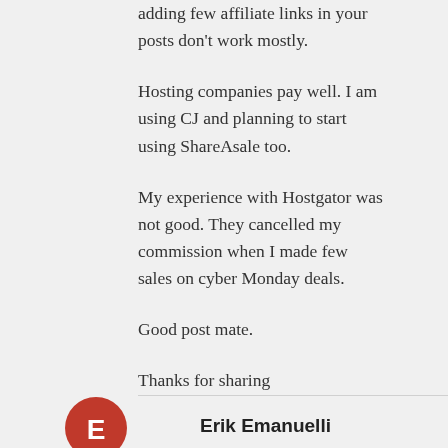adding few affiliate links in your posts don't work mostly.
Hosting companies pay well. I am using CJ and planning to start using ShareAsale too.
My experience with Hostgator was not good. They cancelled my commission when I made few sales on cyber Monday deals.
Good post mate.
Thanks for sharing
Reply
Erik Emanuelli